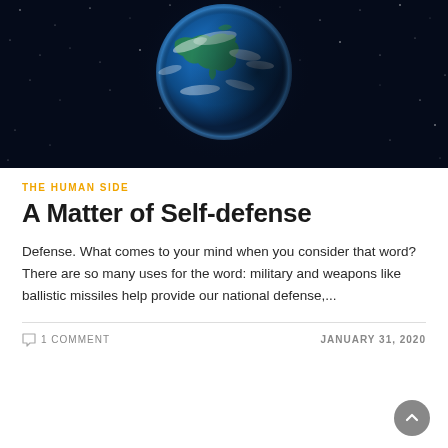[Figure (photo): Earth viewed from space against a dark starry background, with North America visible on the globe]
THE HUMAN SIDE
A Matter of Self-defense
Defense. What comes to your mind when you consider that word? There are so many uses for the word: military and weapons like ballistic missiles help provide our national defense,...
1 COMMENT    JANUARY 31, 2020